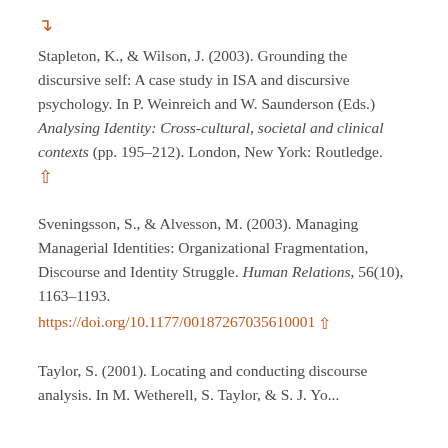↑ (back arrow icon)
Stapleton, K., & Wilson, J. (2003). Grounding the discursive self: A case study in ISA and discursive psychology. In P. Weinreich and W. Saunderson (Eds.) Analysing Identity: Cross-cultural, societal and clinical contexts (pp. 195–212). London, New York: Routledge.
↑ (up arrow icon)
Sveningsson, S., & Alvesson, M. (2003). Managing Managerial Identities: Organizational Fragmentation, Discourse and Identity Struggle. Human Relations, 56(10), 1163–1193.
https://doi.org/10.1177/00187267035610001 ↑
Taylor, S. (2001). Locating and conducting discourse analysis. In M. Wetherell, S. Taylor, & S. J. Yo...